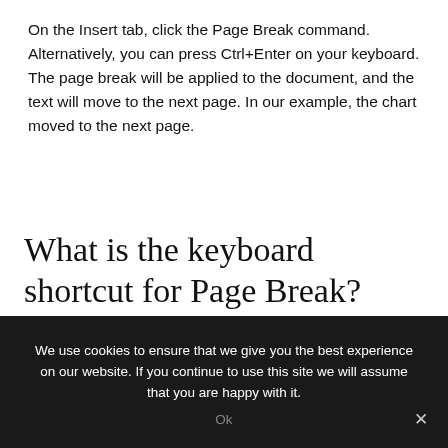On the Insert tab, click the Page Break command. Alternatively, you can press Ctrl+Enter on your keyboard. The page break will be applied to the document, and the text will move to the next page. In our example, the chart moved to the next page.
What is the keyboard shortcut for Page Break?
1. Ctrl + Enter: Insert page break.
We use cookies to ensure that we give you the best experience on our website. If you continue to use this site we will assume that you are happy with it.